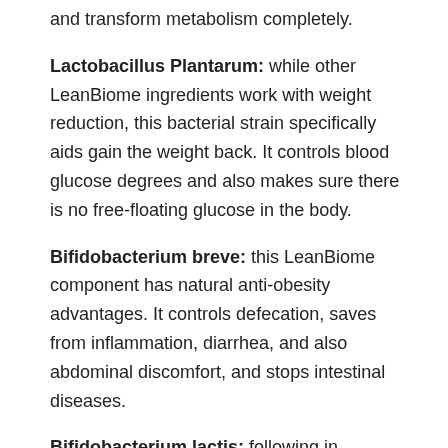and transform metabolism completely.
Lactobacillus Plantarum: while other LeanBiome ingredients work with weight reduction, this bacterial strain specifically aids gain the weight back. It controls blood glucose degrees and also makes sure there is no free-floating glucose in the body.
Bifidobacterium breve: this LeanBiome component has natural anti-obesity advantages. It controls defecation, saves from inflammation, diarrhea, and also abdominal discomfort, and stops intestinal diseases.
Bifidobacterium lactis: following in LeanBiome ingredients is Bifidobacterium lactis, which decreases stomach fat. It also saves from gastrointestinal disorders, particularly in younger adults.
Lactobacillus Rhamnosus: this stress promotes weight-loss as well as removes fat from the problematic locations, including the belly, upper legs, hips, as well as arms. It additionally saves from